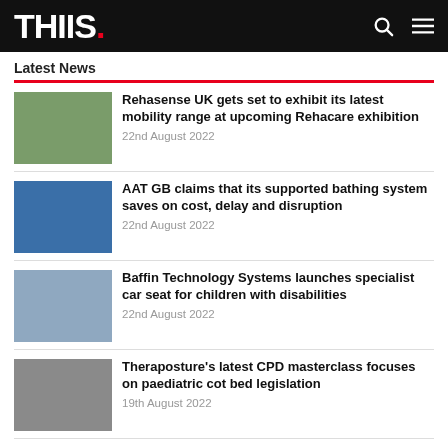THIIS.
Latest News
Rehasense UK gets set to exhibit its latest mobility range at upcoming Rehacare exhibition
22nd August 2022
AAT GB claims that its supported bathing system saves on cost, delay and disruption
22nd August 2022
Baffin Technology Systems launches specialist car seat for children with disabilities
22nd August 2022
Theraposture's latest CPD masterclass focuses on paediatric cot bed legislation
19th August 2022
Lifestyle & Mobility adds experienced Complex Rehabilitation Business Manager to its team